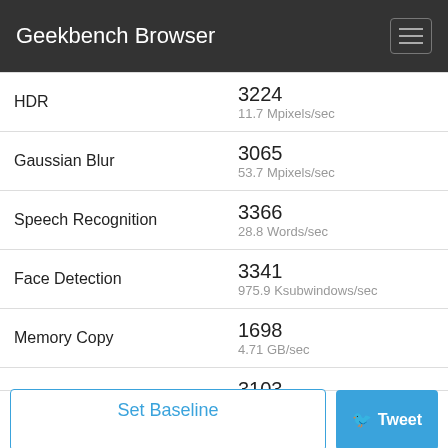Geekbench Browser
| Benchmark | Score / Unit |
| --- | --- |
| HDR | 3224
11.7 Mpixels/sec |
| Gaussian Blur | 3065
53.7 Mpixels/sec |
| Speech Recognition | 3366
28.8 Words/sec |
| Face Detection | 3341
975.9 Ksubwindows/sec |
| Memory Copy | 1698
4.71 GB/sec |
| Memory Latency | 3103
139.5 ns |
| Memory Bandwidth | 1400
7.48 GB/sec |
Set Baseline
Tweet